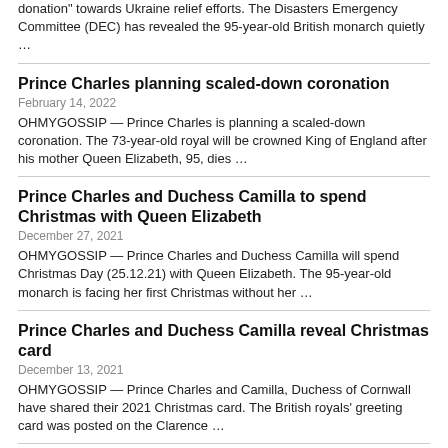donation" towards Ukraine relief efforts. The Disasters Emergency Committee (DEC) has revealed the 95-year-old British monarch quietly …
Prince Charles planning scaled-down coronation
February 14, 2022
OHMYGOSSIP — Prince Charles is planning a scaled-down coronation. The 73-year-old royal will be crowned King of England after his mother Queen Elizabeth, 95, dies …
Prince Charles and Duchess Camilla to spend Christmas with Queen Elizabeth
December 27, 2021
OHMYGOSSIP — Prince Charles and Duchess Camilla will spend Christmas Day (25.12.21) with Queen Elizabeth. The 95-year-old monarch is facing her first Christmas without her …
Prince Charles and Duchess Camilla reveal Christmas card
December 13, 2021
OHMYGOSSIP — Prince Charles and Camilla, Duchess of Cornwall have shared their 2021 Christmas card. The British royals' greeting card was posted on the Clarence …
Will Smith vomitava dopo aver fatto sesso
November 27, 2021
OHMYGOSSIP — Will Smith quasi soffocava e vomitava dopo aver avuto un orgasmo. L'attore in un periodo della sua vita, intorno ai 16 anni, sviluppò